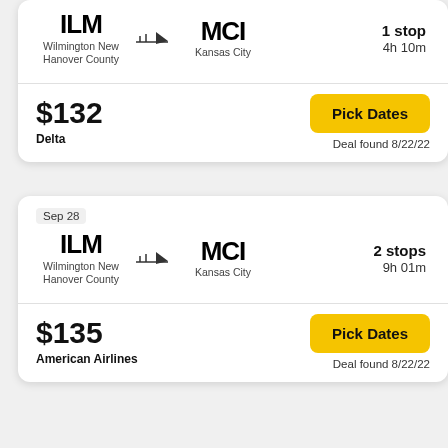[Figure (screenshot): Flight search result card 1: ILM to MCI, 1 stop, 4h 10m, $132, Delta, Deal found 8/22/22]
[Figure (screenshot): Flight search result card 2: Sep 28, ILM to MCI, 2 stops, 9h 01m, $135, American Airlines, Deal found 8/22/22]